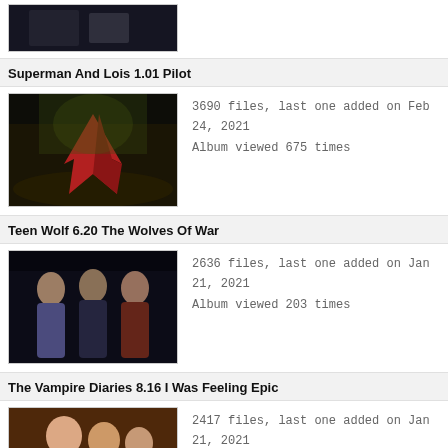[Figure (photo): Partial thumbnail of a TV show at the top of the page, cropped]
Superman And Lois 1.01 Pilot
[Figure (photo): Superman figure with red cape leaping forward in a dark industrial setting with green tinted light]
3690 files, last one added on Feb 24, 2021
Album viewed 675 times
Teen Wolf 6.20 The Wolves Of War
[Figure (photo): Three characters from Teen Wolf standing together in a dark scene]
2636 files, last one added on Jan 21, 2021
Album viewed 203 times
The Vampire Diaries 8.16 I Was Feeling Epic
[Figure (photo): Characters from The Vampire Diaries embracing and smiling in a warm toned outdoor scene]
2417 files, last one added on Jan 21, 2021
Album viewed 359 times